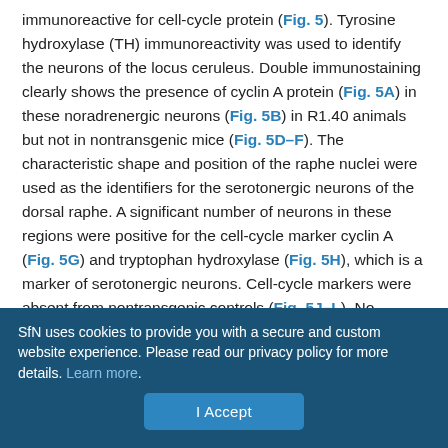immunoreactive for cell-cycle protein (Fig. 5). Tyrosine hydroxylase (TH) immunoreactivity was used to identify the neurons of the locus ceruleus. Double immunostaining clearly shows the presence of cyclin A protein (Fig. 5A) in these noradrenergic neurons (Fig. 5B) in R1.40 animals but not in nontransgenic mice (Fig. 5D–F). The characteristic shape and position of the raphe nuclei were used as the identifiers for the serotonergic neurons of the dorsal raphe. A significant number of neurons in these regions were positive for the cell-cycle marker cyclin A (Fig. 5G) and tryptophan hydroxylase (Fig. 5H), which is a marker of serotonergic neurons. Cell-cycle markers were absent from nontransgenic controls (Fig. 5J–L). No evidence of neuronal cell cycling was found among the TH-positive neurons of the substantia nigra (Fig. 5N) in any of the 22-month-old transgenic
SfN uses cookies to provide you with a secure and custom website experience. Please read our privacy policy for more details. Learn more.